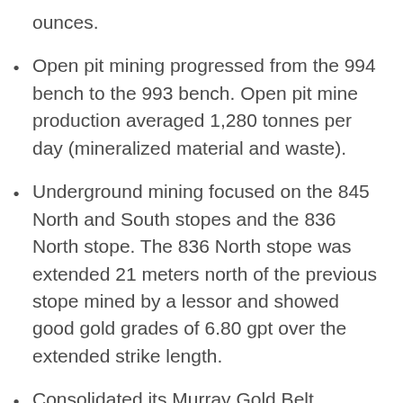ounces.
Open pit mining progressed from the 994 bench to the 993 bench. Open pit mine production averaged 1,280 tonnes per day (mineralized material and waste).
Underground mining focused on the 845 North and South stopes and the 836 North stope. The 836 North stope was extended 21 meters north of the previous stope mined by a lessor and showed good gold grades of 6.80 gpt over the extended strike length.
Consolidated its Murray Gold Belt holdings with the purchase of the Alder Gulch property, comprised of 368 acres of patented mining claims in the Murray Gold Belt. Management believes this property package holds excellent potential for future